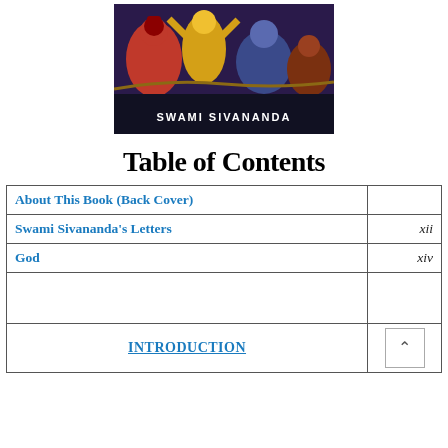[Figure (illustration): Book cover illustration showing Hindu deities with colorful artwork and text 'SWAMI SIVANANDA' at the bottom]
Table of Contents
| Entry | Page |
| --- | --- |
| About This Book (Back Cover) |  |
| Swami Sivananda's Letters | xii |
| God | xiv |
|  |  |
| INTRODUCTION |  |